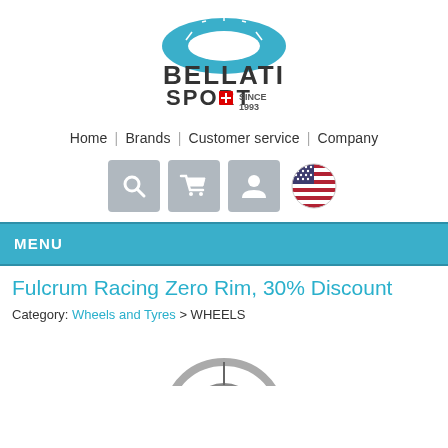[Figure (logo): Bellati Sport logo with teal oval shape above and text 'BELLATI SPORT + SINCE 1993' below]
Home | Brands | Customer service | Company
[Figure (infographic): Three grey icon buttons (search, cart, user) and a circular US flag icon]
MENU
Fulcrum Racing Zero Rim, 30% Discount
Category: Wheels and Tyres > WHEELS
[Figure (photo): Partial product image of a bicycle wheel/rim at the bottom of the page]